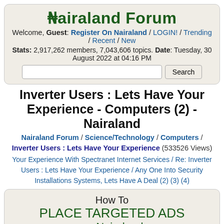Nairaland Forum
Welcome, Guest: Register On Nairaland / LOGIN! / Trending / Recent / New
Stats: 2,917,262 members, 7,043,606 topics. Date: Tuesday, 30 August 2022 at 04:16 PM
Inverter Users : Lets Have Your Experience - Computers (2) - Nairaland
Nairaland Forum / Science/Technology / Computers / Inverter Users : Lets Have Your Experience (533526 Views)
Your Experience With Spectranet Internet Services / Re: Inverter Users : Lets Have Your Experience / Any One Into Security Installations Systems, Lets Have A Deal (2) (3) (4)
[Figure (infographic): Ad box with text: How To PLACE TARGETED ADS on Nairaland]